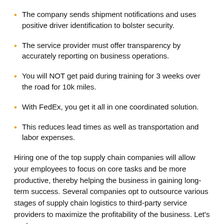The company sends shipment notifications and uses positive driver identification to bolster security.
The service provider must offer transparency by accurately reporting on business operations.
You will NOT get paid during training for 3 weeks over the road for 10k miles.
With FedEx, you get it all in one coordinated solution.
This reduces lead times as well as transportation and labor expenses.
Hiring one of the top supply chain companies will allow your employees to focus on core tasks and be more productive, thereby helping the business in gaining long-term success. Several companies opt to outsource various stages of supply chain logistics to third-party service providers to maximize the profitability of the business. Let's explore